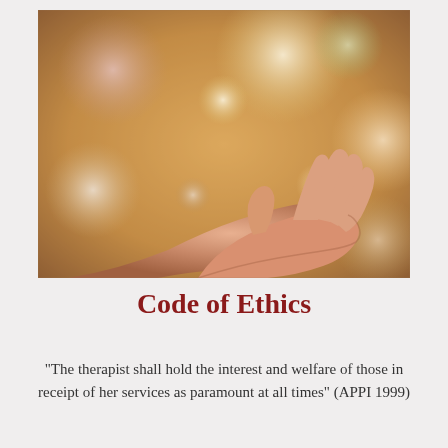[Figure (photo): A hand with an open palm raised upward against a warm bokeh background with soft circular light orbs in gold, cream, and pink tones.]
Code of Ethics
"The therapist shall hold the interest and welfare of those in receipt of her services as paramount at all times" (APPI 1999)